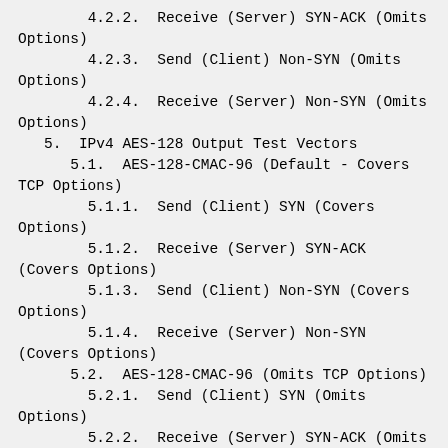4.2.2.  Receive (Server) SYN-ACK (Omits Options)
4.2.3.  Send (Client) Non-SYN (Omits Options)
4.2.4.  Receive (Server) Non-SYN (Omits Options)
5.  IPv4 AES-128 Output Test Vectors
5.1.  AES-128-CMAC-96 (Default - Covers TCP Options)
5.1.1.  Send (Client) SYN (Covers Options)
5.1.2.  Receive (Server) SYN-ACK (Covers Options)
5.1.3.  Send (Client) Non-SYN (Covers Options)
5.1.4.  Receive (Server) Non-SYN (Covers Options)
5.2.  AES-128-CMAC-96 (Omits TCP Options)
5.2.1.  Send (Client) SYN (Omits Options)
5.2.2.  Receive (Server) SYN-ACK (Omits Options)
5.2.3.  Send (Client) Non-SYN (Omits